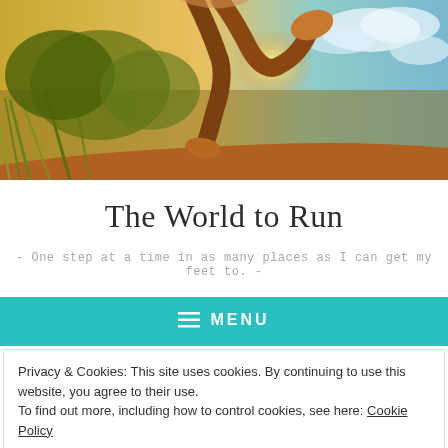[Figure (photo): A runner's legs mid-stride on a dirt path at golden hour, with tall grasses and a bright sunlit sky in the background.]
The World to Run
- One step at a time in as many places as I can get my feet to. -
≡ MENU
Privacy & Cookies: This site uses cookies. By continuing to use this website, you agree to their use.
To find out more, including how to control cookies, see here: Cookie Policy
Close and accept